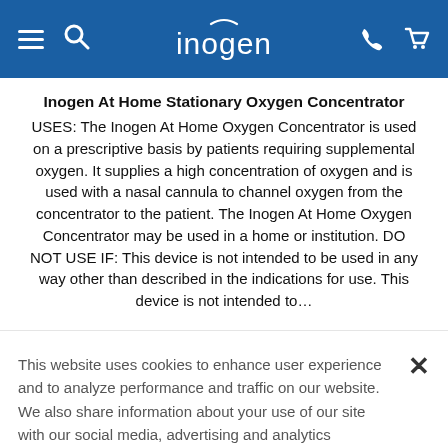Inogen (logo header with navigation icons)
Inogen At Home Stationary Oxygen Concentrator
USES: The Inogen At Home Oxygen Concentrator is used on a prescriptive basis by patients requiring supplemental oxygen. It supplies a high concentration of oxygen and is used with a nasal cannula to channel oxygen from the concentrator to the patient. The Inogen At Home Oxygen Concentrator may be used in a home or institution. DO NOT USE IF: This device is not intended to be used in any way other than described in the indications for use. This device is not intended to...
This website uses cookies to enhance user experience and to analyze performance and traffic on our website. We also share information about your use of our site with our social media, advertising and analytics partners.
Exercise my rights
Accept and Continue